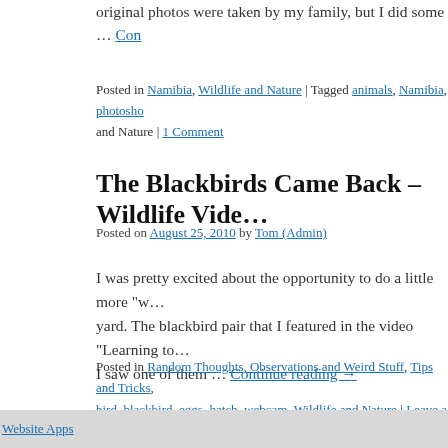original photos were taken by my family, but I did some … Continue reading
Posted in Namibia, Wildlife and Nature | Tagged animals, Namibia, photoshop, and Nature | 1 Comment
The Blackbirds Came Back – Wildlife Vide…
Posted on August 25, 2010 by Tom (Admin)
I was pretty excited about the opportunity to do a little more "w… yard. The blackbird pair that I featured in the video "Learning to… I saw one of them … Continue reading →
Posted in Random Thoughts, Observations and Weird Stuff, Tips and Tricks, bird, blackbird, eggs, hatch, webcam, Wildlife and Nature | Leave a comment
TAZM PICTURES
Website Apps